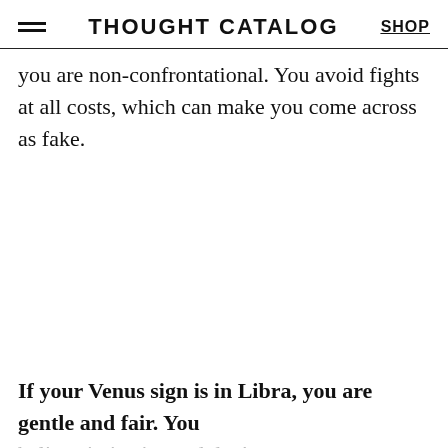THOUGHT CATALOG  SHOP
you are non-confrontational. You avoid fights at all costs, which can make you come across as fake.
If your Venus sign is in Libra, you are gentle and fair. You believe in justice and don't want anyone to feel excluded or judged. Although you aren't quick to anger and rarely